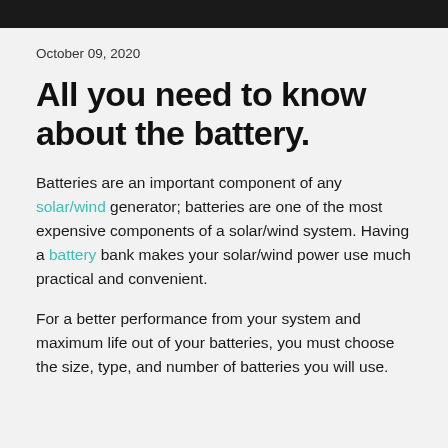October 09, 2020
All you need to know about the battery.
Batteries are an important component of any solar/wind generator; batteries are one of the most expensive components of a solar/wind system. Having a battery bank makes your solar/wind power use much practical and convenient.
For a better performance from your system and maximum life out of your batteries, you must choose the size, type, and number of batteries you will use.